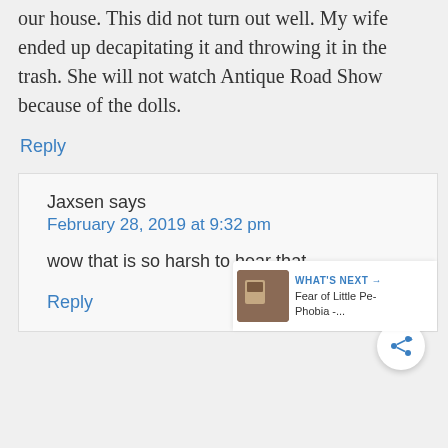our house. This did not turn out well. My wife ended up decapitating it and throwing it in the trash. She will not watch Antique Road Show because of the dolls.
Reply
Jaxsen says
February 28, 2019 at 9:32 pm
wow that is so harsh to hear that
Reply